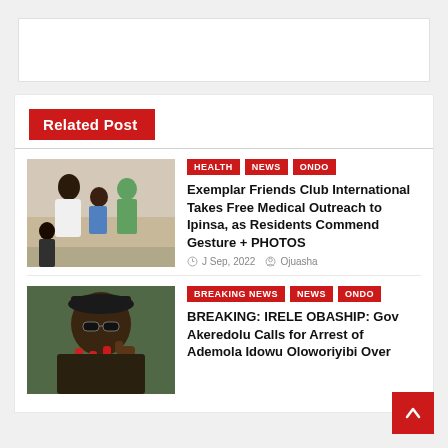[Figure (other): Advertisement banner placeholder (white rectangle)]
Related Post
[Figure (photo): A healthcare worker attending to a child patient, outreach medical event scene]
HEALTH  NEWS  ONDO
Exemplar Friends Club International Takes Free Medical Outreach to Ipinsa, as Residents Commend Gesture + PHOTOS
J Sep, 2022  Ojuasha
[Figure (photo): A man in a black cap giving thumbs up, speaking into red microphones]
BREAKING NEWS  NEWS  ONDO
BREAKING: IRELE OBASHIP: Gov Akeredolu Calls for Arrest of Ademola Idowu Oloworiyibi Over